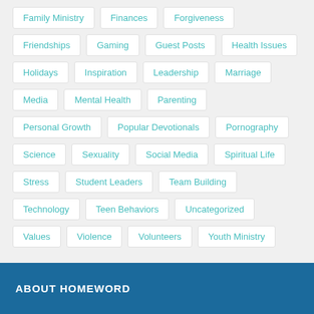Family Ministry
Finances
Forgiveness
Friendships
Gaming
Guest Posts
Health Issues
Holidays
Inspiration
Leadership
Marriage
Media
Mental Health
Parenting
Personal Growth
Popular Devotionals
Pornography
Science
Sexuality
Social Media
Spiritual Life
Stress
Student Leaders
Team Building
Technology
Teen Behaviors
Uncategorized
Values
Violence
Volunteers
Youth Ministry
ABOUT HOMEWORD